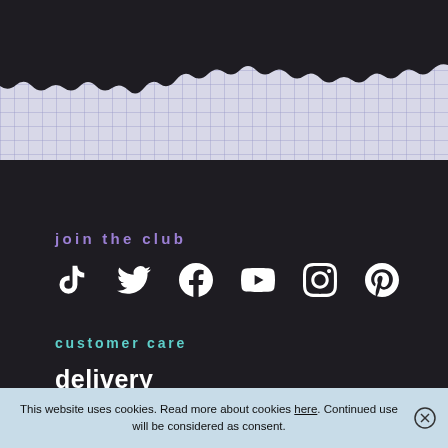[Figure (illustration): Torn paper effect: light grid-paper background visible at top, with dark torn-paper shape overlaid creating a ragged edge transition to dark background below]
join the club
[Figure (infographic): Row of social media icons: TikTok, Twitter, Facebook, YouTube, Instagram, Pinterest — all white on dark background]
customer care
delivery
faq
contact
about
This website uses cookies. Read more about cookies here. Continued use will be considered as consent.